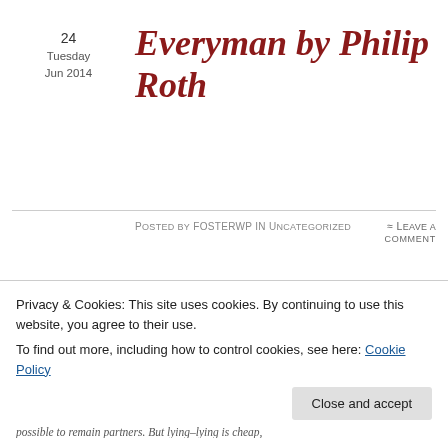24 Tuesday Jun 2014
Everyman by Philip Roth
Posted by fosterwp in Uncategorized
≈ Leave a comment
Originally posted on April 9th, 2010
Tags
#divorce, #ego, #lying,
Just finished reading Everyman by Philip Roth. Good story, great writing. This quote, even though the gender roles are reversed in my case, rang fantastically true:
Privacy & Cookies: This site uses cookies. By continuing to use this website, you agree to their use. To find out more, including how to control cookies, see here: Cookie Policy
Close and accept
possible to remain partners. But lying–lying is cheap,